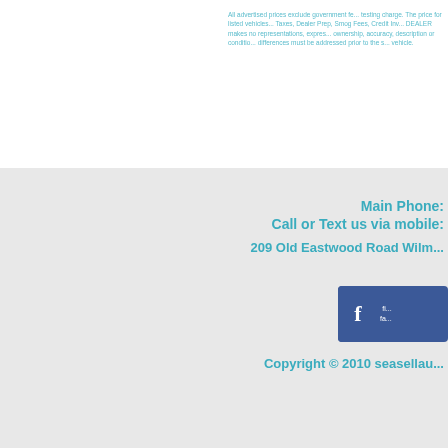All advertised prices exclude government fe... testing charge. The price for listed vehicles... Taxes, Dealer Prep, Smog Fees, Credit Inv... DEALER makes no representations, expres... ownership, accuracy, description or conditio... differences must be addressed prior to the s... vehicle.
Main Phone:
Call or Text us via mobile:
209 Old Eastwood Road Wilm...
[Figure (logo): Facebook badge with 'f' icon and text 'fi... fa...']
Copyright © 2010 seasellau...